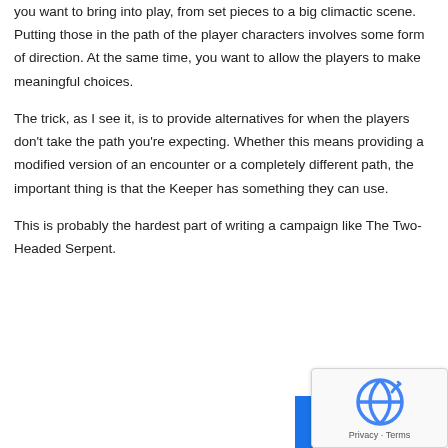you want to bring into play, from set pieces to a big climactic scene. Putting those in the path of the player characters involves some form of direction. At the same time, you want to allow the players to make meaningful choices.
The trick, as I see it, is to provide alternatives for when the players don't take the path you're expecting. Whether this means providing a modified version of an encounter or a completely different path, the important thing is that the Keeper has something they can use.
This is probably the hardest part of writing a campaign like The Two-Headed Serpent.